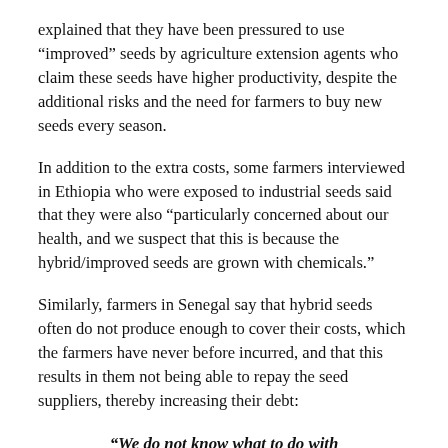explained that they have been pressured to use “improved” seeds by agriculture extension agents who claim these seeds have higher productivity, despite the additional risks and the need for farmers to buy new seeds every season.
In addition to the extra costs, some farmers interviewed in Ethiopia who were exposed to industrial seeds said that they were also “particularly concerned about our health, and we suspect that this is because the hybrid/improved seeds are grown with chemicals.”
Similarly, farmers in Senegal say that hybrid seeds often do not produce enough to cover their costs, which the farmers have never before incurred, and that this results in them not being able to repay the seed suppliers, thereby increasing their debt:
“We do not know what to do with the fact that the purchase of the seeds is not always paid back, neither to the